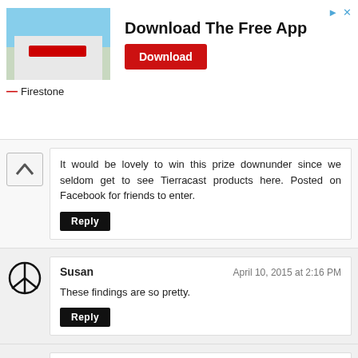[Figure (photo): Firestone store advertisement banner with photo of a Firestone building, text 'Download The Free App', and a red Download button]
It would be lovely to win this prize downunder since we seldom get to see Tierracast products here. Posted on Facebook for friends to enter.
Reply
Susan
April 10, 2015 at 2:16 PM
These findings are so pretty.
Reply
AUjewel
April 10, 2015 at 4:22 PM
I could do so much with these!!!
Reply